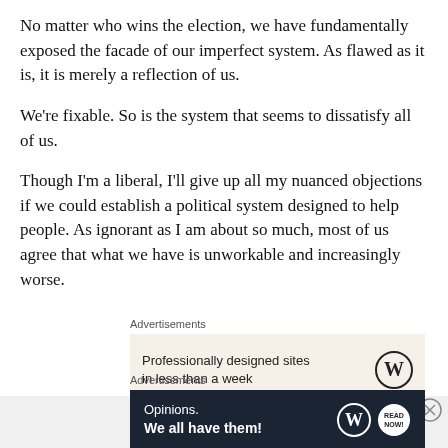No matter who wins the election, we have fundamentally exposed the facade of our imperfect system. As flawed as it is, it is merely a reflection of us.
We're fixable. So is the system that seems to dissatisfy all of us.
Though I'm a liberal, I'll give up all my nuanced objections if we could establish a political system designed to help people. As ignorant as I am about so much, most of us agree that what we have is unworkable and increasingly worse.
[Figure (other): Advertisement box with beige background showing text 'Professionally designed sites in less than a week' with WordPress logo]
[Figure (other): Advertisement box with dark navy background showing text 'Opinions. We all have them!' with WordPress and blog-related logos]